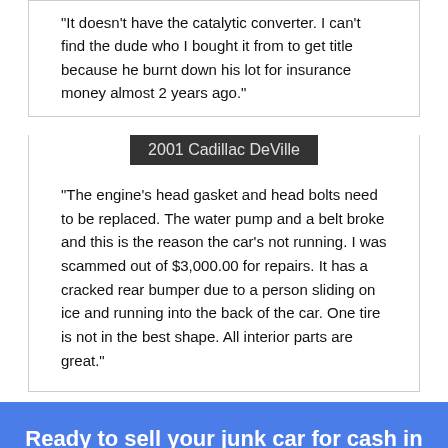"It doesn't have the catalytic converter. I can't find the dude who I bought it from to get title because he burnt down his lot for insurance money almost 2 years ago."
2001 Cadillac DeVille
"The engine's head gasket and head bolts need to be replaced. The water pump and a belt broke and this is the reason the car's not running. I was scammed out of $3,000.00 for repairs. It has a cracked rear bumper due to a person sliding on ice and running into the back of the car. One tire is not in the best shape. All interior parts are great."
Ready to sell your junk car for cash in Seymour, IN?
Get an Offer!